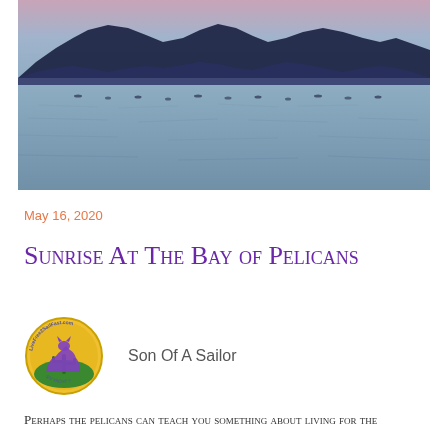[Figure (photo): Panoramic photo of a calm bay at sunrise/sunset with dark mountain silhouettes along the horizon and still water in the foreground, birds visible on the water's surface]
May 16, 2020
Sunrise At The Bay of Pelicans
[Figure (logo): Circular logo with yellow and green background showing a howling wolf/coyote silhouette, with text 'LiveFree2SailFast.com' around the border and 'S/V YACHT ?' at the bottom]
Son Of A Sailor
Perhaps the pelicans can teach you something about living for the